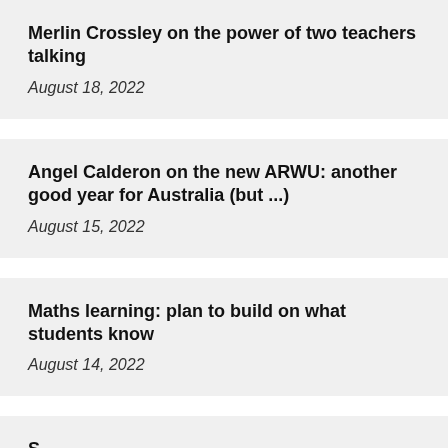Merlin Crossley on the power of two teachers talking
August 18, 2022
Angel Calderon on the new ARWU: another good year for Australia (but ...)
August 15, 2022
Maths learning: plan to build on what students know
August 14, 2022
S... (partial, cut off)